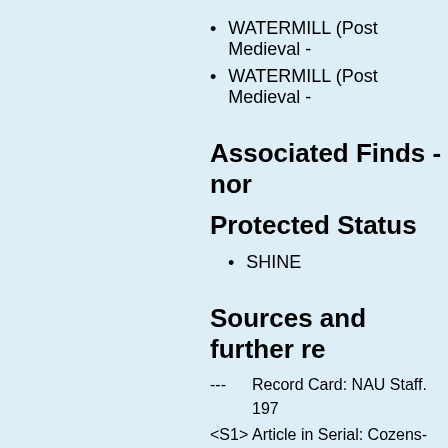WATERMILL (Post Medieval -
WATERMILL (Post Medieval -
Associated Finds - nor
Protected Status
SHINE
Sources and further re
---        Record Card: NAU Staff. 197
<S1>   Article in Serial: Cozens-Har p 176.
Related records - none
Find out more...